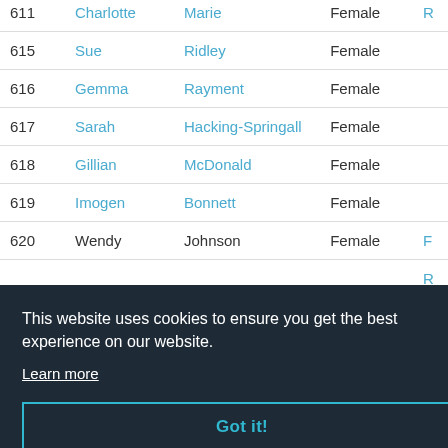| ID | First Name | Last Name | Gender |  |
| --- | --- | --- | --- | --- |
| 611 | Charlotte | Marie | Female | R |
| 615 | Sue | Ridley | Female |  |
| 616 | Gemma | Rayment | Female |  |
| 617 | Sarah | Hacking-Springall | Female |  |
| 618 | Gillian | McDonald | Female |  |
| 619 | Imogen | Bonnett | Female |  |
| 620 | Wendy | Johnson | Female | F |
|  |  |  |  | R |
|  |  |  |  | F |
|  |  |  |  | S |
This website uses cookies to ensure you get the best experience on our website. Learn more